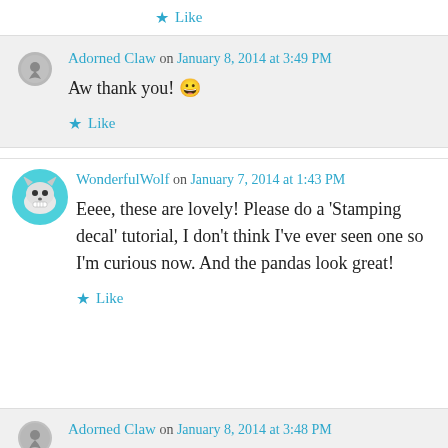Like
Adorned Claw on January 8, 2014 at 3:49 PM
Aw thank you! 😀
Like
WonderfulWolf on January 7, 2014 at 1:43 PM
Eeee, these are lovely! Please do a 'Stamping decal' tutorial, I don't think I've ever seen one so I'm curious now. And the pandas look great!
Like
Adorned Claw on January 8, 2014 at 3:48 PM